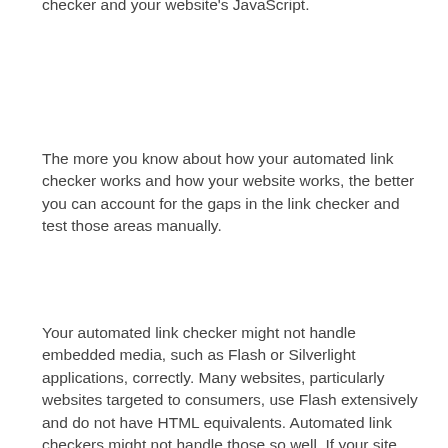checker and your website's JavaScript.
The more you know about how your automated link checker works and how your website works, the better you can account for the gaps in the link checker and test those areas manually.
Your automated link checker might not handle embedded media, such as Flash or Silverlight applications, correctly. Many websites, particularly websites targeted to consumers, use Flash extensively and do not have HTML equivalents. Automated link checkers might not handle those so well. If your site embeds objects or uses iframes, your link checker might not handle error codes for those objects. That is, if your site embeds a YouTube video, your link checker probably won't flag a problem if YouTube returns an error message instead of your video, especially if it returns the error message within the